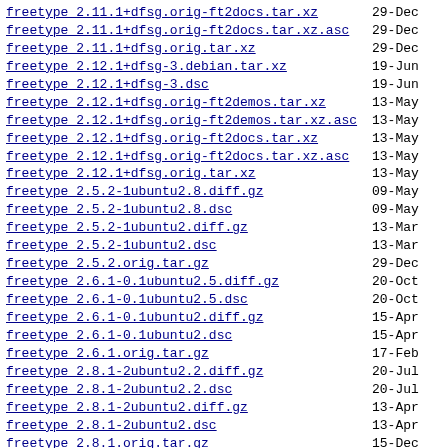freetype 2.11.1+dfsg.orig-ft2docs.tar.xz  29-Dec
freetype 2.11.1+dfsg.orig-ft2docs.tar.xz.asc  29-Dec
freetype 2.11.1+dfsg.orig.tar.xz  29-Dec
freetype 2.12.1+dfsg-3.debian.tar.xz  19-Jun
freetype 2.12.1+dfsg-3.dsc  19-Jun
freetype 2.12.1+dfsg.orig-ft2demos.tar.xz  13-May
freetype 2.12.1+dfsg.orig-ft2demos.tar.xz.asc  13-May
freetype 2.12.1+dfsg.orig-ft2docs.tar.xz  13-May
freetype 2.12.1+dfsg.orig-ft2docs.tar.xz.asc  13-May
freetype 2.12.1+dfsg.orig.tar.xz  13-May
freetype 2.5.2-1ubuntu2.8.diff.gz  09-May
freetype 2.5.2-1ubuntu2.8.dsc  09-May
freetype 2.5.2-1ubuntu2.diff.gz  13-Mar
freetype 2.5.2-1ubuntu2.dsc  13-Mar
freetype 2.5.2.orig.tar.gz  29-Dec
freetype 2.6.1-0.1ubuntu2.5.diff.gz  20-Oct
freetype 2.6.1-0.1ubuntu2.5.dsc  20-Oct
freetype 2.6.1-0.1ubuntu2.diff.gz  15-Apr
freetype 2.6.1-0.1ubuntu2.dsc  15-Apr
freetype 2.6.1.orig.tar.gz  17-Feb
freetype 2.8.1-2ubuntu2.2.diff.gz  20-Jul
freetype 2.8.1-2ubuntu2.2.dsc  20-Jul
freetype 2.8.1-2ubuntu2.diff.gz  13-Apr
freetype 2.8.1-2ubuntu2.dsc  13-Apr
freetype 2.8.1.orig.tar.gz  15-Dec
libfreetype-dev 2.10.1-2 amd64.deb  25-Oct
libfreetype-dev 2.10.1-2 i386.deb  25-Oct
libfreetype-dev 2.10.1-2ubuntu0.2 amd64.deb  20-Jul
libfreetype-dev 2.10.1-2ubuntu0.2 i386.deb  20-Jul
libfreetype-dev 2.11.1+dfsg-1build1 amd64.deb  24-Mar